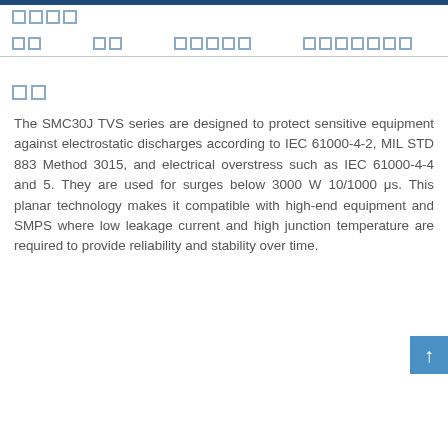■■■■
■■   ■■   ■■■■■   ■■■■■■■
■■
The SMC30J TVS series are designed to protect sensitive equipment against electrostatic discharges according to IEC 61000-4-2, MIL STD 883 Method 3015, and electrical overstress such as IEC 61000-4-4 and 5. They are used for surges below 3000 W 10/1000 μs. This planar technology makes it compatible with high-end equipment and SMPS where low leakage current and high junction temperature are required to provide reliability and stability over time.